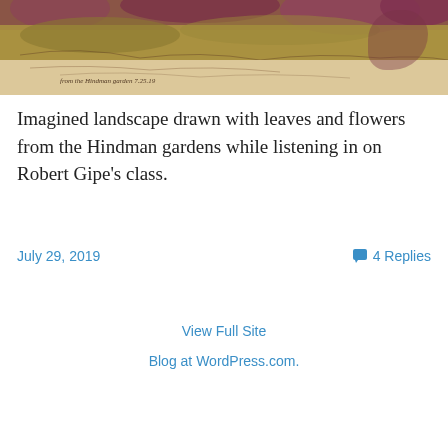[Figure (photo): Landscape artwork made with leaves and flowers from the Hindman gardens, showing a hand-drawn nature scene with cursive handwriting at the bottom reading 'from the Hindman garden 7.25.19']
Imagined landscape drawn with leaves and flowers from the Hindman gardens while listening in on Robert Gipe’s class.
July 29, 2019    4 Replies
View Full Site
Blog at WordPress.com.